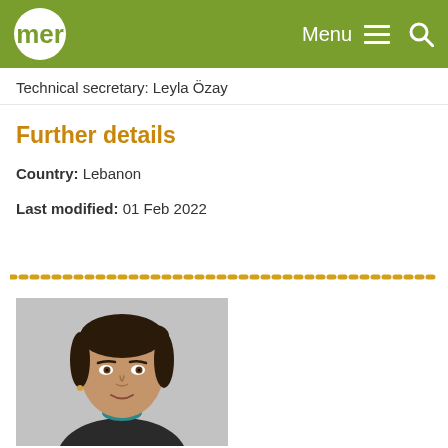mer  Menu  🔍
Technical secretary: Leyla Özay
Further details
Country: Lebanon
Last modified: 01 Feb 2022
[Figure (photo): Headshot of a woman with dark hair pulled back, smiling slightly, wearing a dark jacket over a grey top, against a light grey background.]